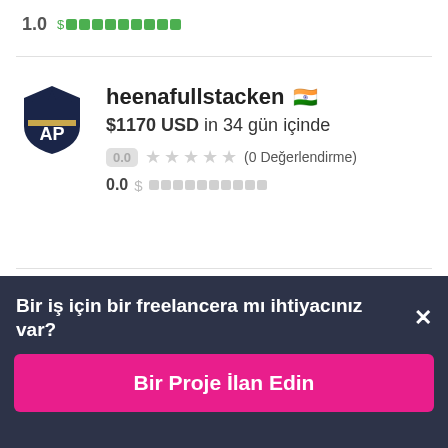1.0 [green blocks]
[Figure (screenshot): User profile card for heenafullstacken with India flag, showing $1170 USD in 34 gün içinde, 0.0 rating with 5 empty stars and (0 Değerlendirme), and 0.0 score with redacted bar]
Bir iş için bir freelancera mı ihtiyacınız var? ×
Bir Proje İlan Edin